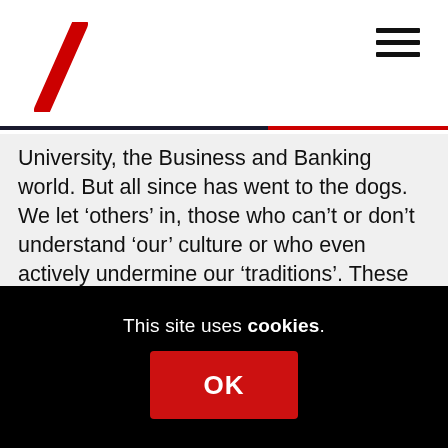Website header with logo and hamburger menu
University, the Business and Banking world. But all since has went to the dogs. We let ‘others’ in, those who can’t or don’t understand ‘our’ culture or who even actively undermine our ‘traditions’. These ‘cultural traditions’ have survived into the small ‘c’ conservatism of Scottish civil life that dominates the temper of the ‘silent majority’s’ present milieu: work hard, keep your head down, know your place, look after your own, family values, law and order, conformity, the one fits all do-what-you’re-told mentality. This is the mainstream mindset that reacts to anyone ill-mannered enough to speak of independence or ‘that Nicol’
This site uses cookies. OK